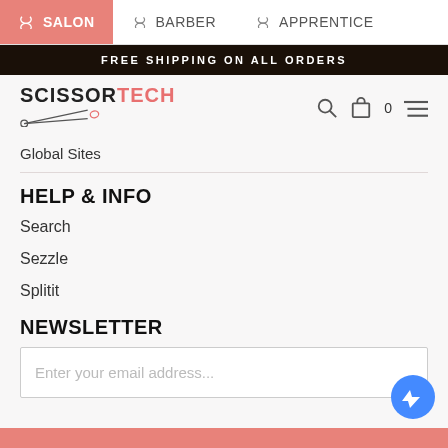✂ SALON  ✂ BARBER  ✂ APPRENTICE
FREE SHIPPING ON ALL ORDERS
[Figure (logo): ScissorTech logo with stylized scissors graphic and text SCISSORTECH where TECH is in pink/salmon color]
Global Sites
HELP & INFO
Search
Sezzle
Splitit
NEWSLETTER
Enter your email address...